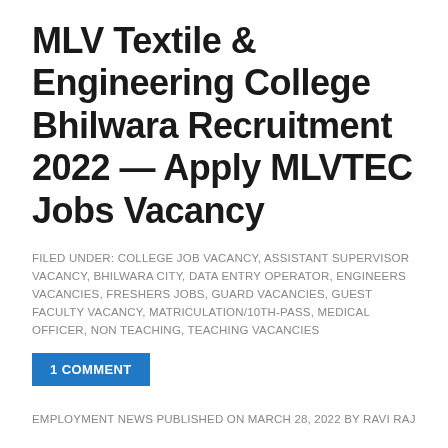MLV Textile & Engineering College Bhilwara Recruitment 2022 — Apply MLVTEC Jobs Vacancy
FILED UNDER: COLLEGE JOB VACANCY, ASSISTANT SUPERVISOR VACANCY, BHILWARA CITY, DATA ENTRY OPERATOR, ENGINEERS VACANCIES, FRESHERS JOBS, GUARD VACANCIES, GUEST FACULTY VACANCY, MATRICULATION/10TH-PASS, MEDICAL OFFICER, NON TEACHING, TEACHING VACANCIES
1 COMMENT
EMPLOYMENT NEWS PUBLISHED ON MARCH 28, 2022 BY RAVI RAJ
MLV Textile & Engineering College Bhilwara